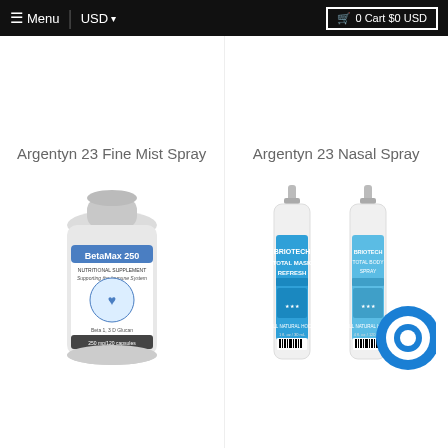≡ Menu | USD ▾   🛒 0 Cart $0 USD
Argentyn 23 Fine Mist Spray
Argentyn 23 Nasal Spray
[Figure (photo): BetaMax 250 nutritional supplement bottle, white plastic with blue label, 'Supporting the Immune System', Beta 1,3 D Glucan, 250mg/120 capsules]
[Figure (photo): Briotech Total Mask Refresh spray bottles (two white bottles with blue labels), with blue chat circle overlay in bottom right corner]